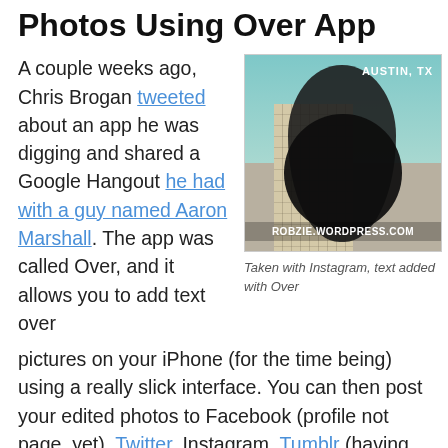Photos Using Over App
A couple weeks ago, Chris Brogan tweeted about an app he was digging and shared a Google Hangout he had with a guy named Aaron Marshall. The app was called Over, and it allows you to add text over pictures on your iPhone (for the time being) using a really slick interface. You can then post your edited photos to Facebook (profile not page, yet), Twitter, Instagram, Tumblr (having issues getting mine to show
[Figure (photo): Photo of a guitar silhouette in front of a building in Austin TX, with text AUSTIN, TX and ROBZIE.WORDPRESS.COM overlaid]
Taken with Instagram, text added with Over